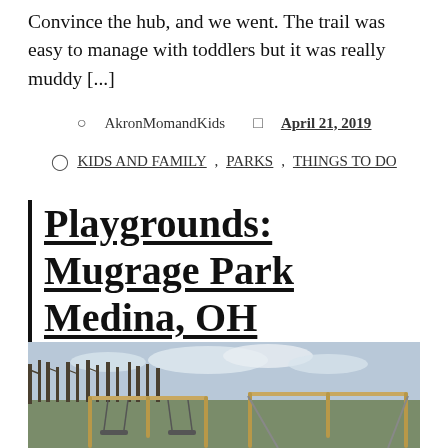Convince the hub, and we went. The trail was easy to manage with toddlers but it was really muddy [...]
AkronMomandKids   April 21, 2019
KIDS AND FAMILY , PARKS , THINGS TO DO
Playgrounds: Mugrage Park Medina, OH
[Figure (photo): Outdoor playground equipment at a park with bare trees and cloudy sky in the background, Mugrage Park Medina OH]